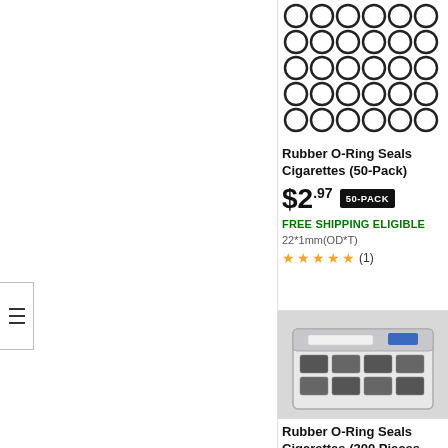[Figure (photo): Left panel white background with filter/menu icon on left edge]
[Figure (photo): Product image: grid of rubber O-rings arranged in rows and columns, black rings on white background]
Rubber O-Ring Seals Cigarettes (50-Pack)
$2.97 50-PACK
FREE SHIPPING ELIGIBLE
22*1mm(OD*T)
★★★★★ (1)
[Figure (photo): Product image: plastic organizer box with multiple compartments containing rubber O-rings of various sizes]
Rubber O-Ring Seals Cigarettes (300 Pieces